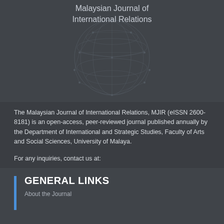Malaysian Journal of
International Relations
The Malaysian Journal of International Relations, MJIR (eISSN 2600-8181) is an open-access, peer-reviewed journal published annually by the Department of International and Strategic Studies, Faculty of Arts and Social Sciences, University of Malaya.
For any inquiries, contact us at:
Tel: +603 7967 5440
E-mail: editor_mjir@um.edu.my
GENERAL LINKS
About the Journal